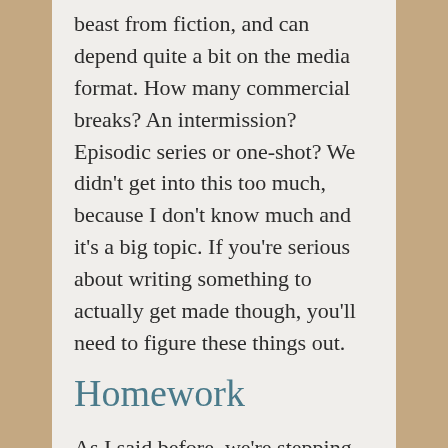beast from fiction, and can depend quite a bit on the media format. How many commercial breaks? An intermission? Episodic series or one-shot? We didn't get into this too much, because I don't know much and it's a big topic. If you're serious about writing something to actually get made though, you'll need to figure these things out.
Homework
As I said before, we're stepping away from class-specific homework, so the goal for next week is to just do some fiction writing. Freya does want to